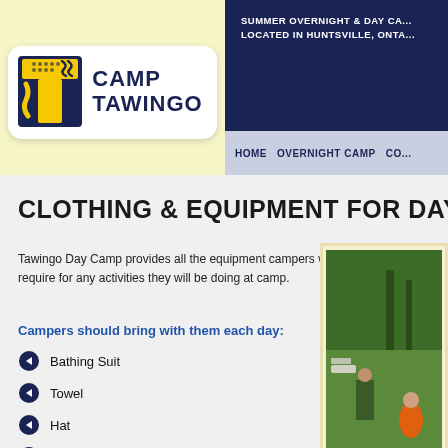[Figure (logo): Camp Tawingo logo — large yellow T with blue background and wavy S-shaped yellow stripe, next to text CAMP TAWINGO in dark blue bold font]
SUMMER OVERNIGHT & DAY CA... LOCATED IN HUNTSVILLE, ONTA...
HOME   OVERNIGHT CAMP   CO...
CLOTHING & EQUIPMENT FOR DAY CA...
Tawingo Day Camp provides all the equipment campers will require for any activities they will be doing at camp.
Campers should bring with them each day:
Bathing Suit
Towel
Hat
Sunscreen
Water Bottle
[Figure (photo): Outdoor photo of people on a green grass field with trees in background, someone in orange at lower right]